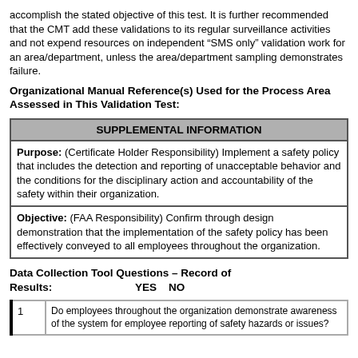accomplish the stated objective of this test. It is further recommended that the CMT add these validations to its regular surveillance activities and not expend resources on independent “SMS only” validation work for an area/department, unless the area/department sampling demonstrates failure.
Organizational Manual Reference(s) Used for the Process Area Assessed in This Validation Test:
| SUPPLEMENTAL INFORMATION |
| --- |
| Purpose: (Certificate Holder Responsibility) Implement a safety policy that includes the detection and reporting of unacceptable behavior and the conditions for the disciplinary action and accountability of the safety within their organization. |
| Objective: (FAA Responsibility) Confirm through design demonstration that the implementation of the safety policy has been effectively conveyed to all employees throughout the organization. |
Data Collection Tool Questions – Record of Results:                          YES    NO
|  |  |
| --- | --- |
| 1 | Do employees throughout the organization demonstrate awareness of the system for employee reporting of safety hazards or issues? |